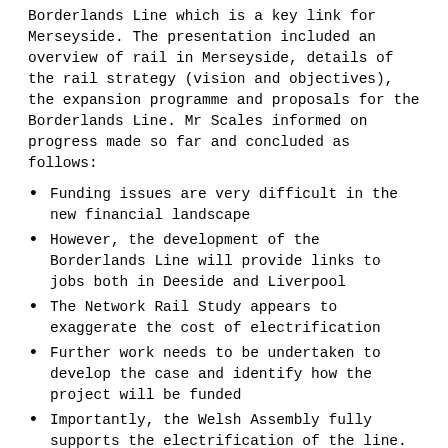Borderlands Line which is a key link for Merseyside. The presentation included an overview of rail in Merseyside, details of the rail strategy (vision and objectives), the expansion programme and proposals for the Borderlands Line. Mr Scales informed on progress made so far and concluded as follows:
Funding issues are very difficult in the new financial landscape
However, the development of the Borderlands Line will provide links to jobs both in Deeside and Liverpool
The Network Rail Study appears to exaggerate the cost of electrification
Further work needs to be undertaken to develop the case and identify how the project will be funded
Importantly, the Welsh Assembly fully supports the electrification of the line.